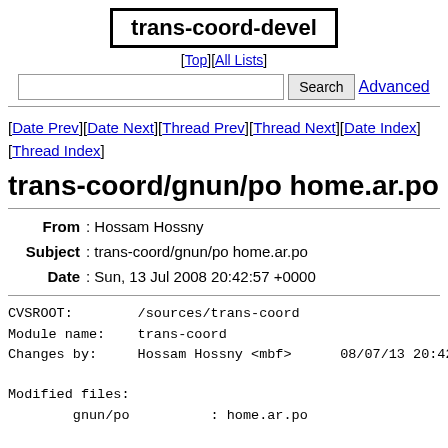trans-coord-devel
[Top][All Lists]
Search   Advanced
[Date Prev][Date Next][Thread Prev][Thread Next][Date Index][Thread Index]
trans-coord/gnun/po home.ar.po
From: Hossam Hossny
Subject: trans-coord/gnun/po home.ar.po
Date: Sun, 13 Jul 2008 20:42:57 +0000
CVSROOT:        /sources/trans-coord
Module name:    trans-coord
Changes by:     Hossam Hossny <mbf>      08/07/13 20:42:57

Modified files:
        gnun/po          : home.ar.po

Log message:
        Fully Translated